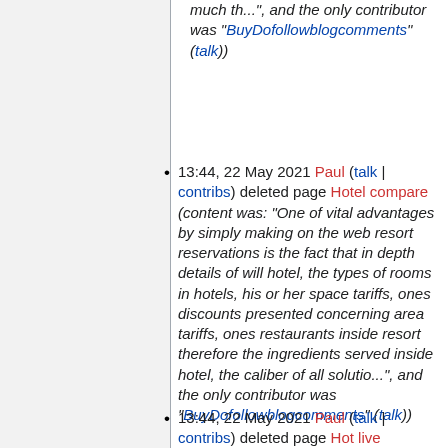much th...", and the only contributor was "BuyDofollowblogcomments" (talk))
13:44, 22 May 2021 Paul (talk | contribs) deleted page Hotel compare (content was: "One of vital advantages by simply making on the web resort reservations is the fact that in depth details of will hotel, the types of rooms in hotels, his or her space tariffs, ones discounts presented concerning area tariffs, ones restaurants inside resort therefore the ingredients served inside hotel, the caliber of all solutio...", and the only contributor was "BuyDofollowblogcomments" (talk))
13:44, 22 May 2021 Paul (talk | contribs) deleted page Hot live